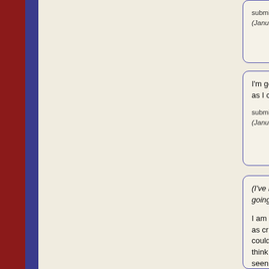submitted by Blackfooted Bob
(January 5, 2022 - 8:43 pm)
I'm going to be out of town but will help as I can :)

submitted by Lupine
(January 7, 2022 - 10:23 pm)
(I've been editing this for going on rants and tang...

I am aware of the whole... as criminals, by the way... could talk about things... think that Kalili Pumaqh... seen as a stereotype) b... Because hey, why not...